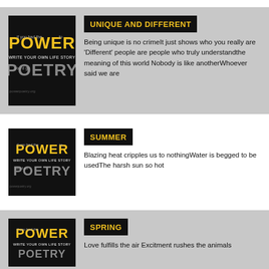[Figure (illustration): Book cover for 'Power Poetry: Write Your Own Life Story' with yellow and white stylized text on black background]
UNIQUE AND DIFFERENT
Being unique is no crimeIt just shows who you really are 'Different' people are people who truly understandthe meaning of this world Nobody is like anotherWhoever said we are
[Figure (illustration): Book cover for 'Power Poetry: Write Your Own Life Story' with yellow and white stylized text on black background]
SUMMER
Blazing heat cripples us to nothingWater is begged to be usedThe harsh sun so hot
[Figure (illustration): Book cover for 'Power Poetry: Write Your Own Life Story' with yellow and white stylized text on black background]
SPRING
Love fulfills the air Excitment rushes the animals